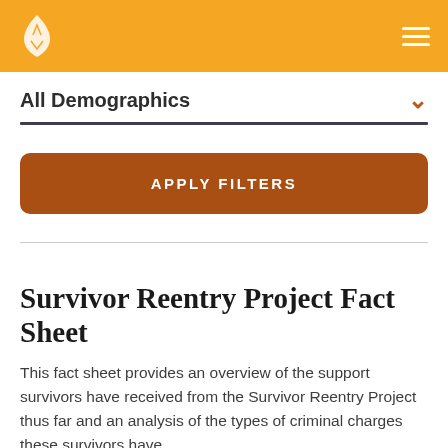All Demographics
APPLY FILTERS
Survivor Reentry Project Fact Sheet
This fact sheet provides an overview of the support survivors have received from the Survivor Reentry Project thus far and an analysis of the types of criminal charges these survivors have.